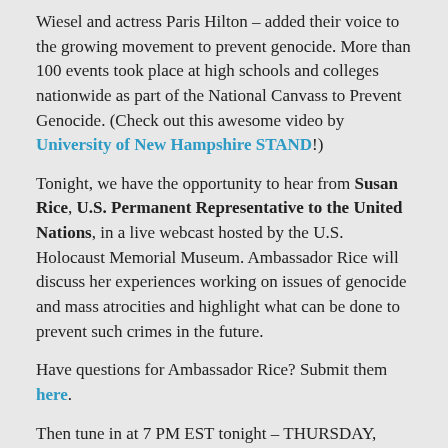Wiesel and actress Paris Hilton – added their voice to the growing movement to prevent genocide. More than 100 events took place at high schools and colleges nationwide as part of the National Canvass to Prevent Genocide. (Check out this awesome video by University of New Hampshire STAND!)
Tonight, we have the opportunity to hear from Susan Rice, U.S. Permanent Representative to the United Nations, in a live webcast hosted by the U.S. Holocaust Memorial Museum. Ambassador Rice will discuss her experiences working on issues of genocide and mass atrocities and highlight what can be done to prevent such crimes in the future.
Have questions for Ambassador Rice? Submit them here.
Then tune in at 7 PM EST tonight – THURSDAY, DECEMBER 10 – to the live webcast hosted by the U.S. Holocaust Memorial Museum at: http://www.ushmm.org/webcasts/rice